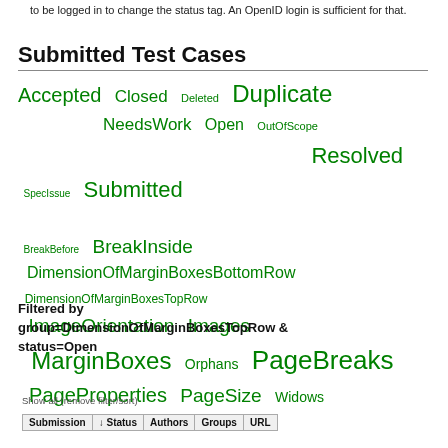to be logged in to change the status tag. An OpenID login is sufficient for that.
Submitted Test Cases
[Figure (other): Tag cloud of test case status tags and group names in green text at various font sizes: Accepted, Closed, Deleted, Duplicate, NeedsWork, Open, OutOfScope, Resolved, SpecIssue, Submitted, BreakBefore, BreakInside, DimensionOfMarginBoxesBottomRow, DimensionOfMarginBoxesTopRow, ImageOrientation, Images, MarginBoxes, Orphans, PageBreaks, PageProperties, PageSize, Widows]
Filtered by group=DimensionOfMarginBoxesTopRow & status=Open
Show all (remove filter/sort)
| Submission | ↓ Status | Authors | Groups | URL |
| --- | --- | --- | --- | --- |